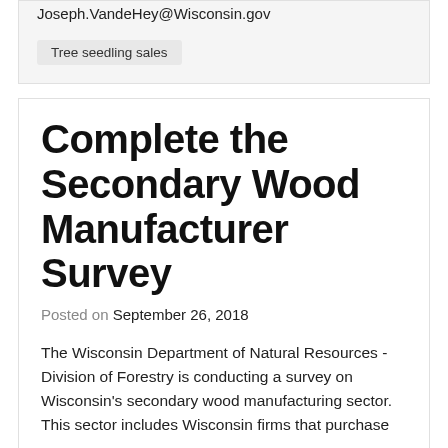Joseph.VandeHey@Wisconsin.gov
Tree seedling sales
Complete the Secondary Wood Manufacturer Survey
Posted on September 26, 2018
The Wisconsin Department of Natural Resources - Division of Forestry is conducting a survey on Wisconsin's secondary wood manufacturing sector. This sector includes Wisconsin firms that purchase